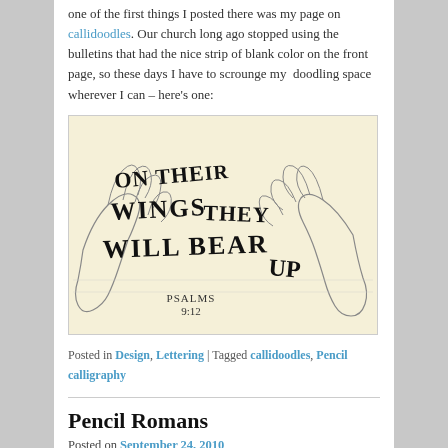one of the first things I posted there was my page on callidoodles. Our church long ago stopped using the bulletins that had the nice strip of blank color on the front page, so these days I have to scrounge my  doodling space wherever I can – here's one:
[Figure (illustration): A pencil sketch/calligraphic doodle on yellowed paper showing the words 'ON THEIR WINGS THEY WILL BEAR UP' in bold calligraphic lettering overlaid on sketched hands. Below the text is written 'PSALMS 9:12'.]
Posted in Design, Lettering | Tagged callidoodles, Pencil calligraphy
Pencil Romans
Posted on September 24, 2010